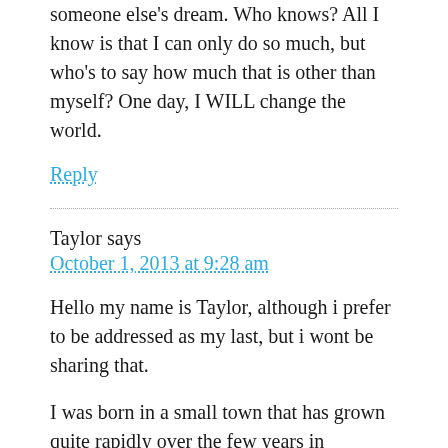someone else's dream. Who knows? All I know is that I can only do so much, but who's to say how much that is other than myself? One day, I WILL change the world.
Reply
Taylor says
October 1, 2013 at 9:28 am
Hello my name is Taylor, although i prefer to be addressed as my last, but i wont be sharing that.
I was born in a small town that has grown quite rapidly over the few years in